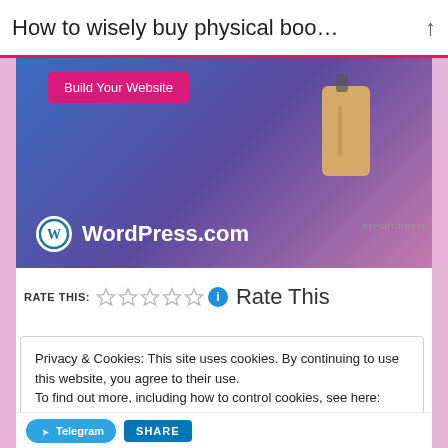How to wisely buy physical boo…
[Figure (screenshot): WordPress.com advertisement banner with blue-to-purple gradient background, a price tag illustration, 'Build Your Website' pink button, and WordPress.com logo at bottom left.]
REPORT THIS AD
RATE THIS: ★★★★★ Rate This
Privacy & Cookies: This site uses cookies. By continuing to use this website, you agree to their use.
To find out more, including how to control cookies, see here:
Cookie Policy
Close and accept
Telegram SHARE